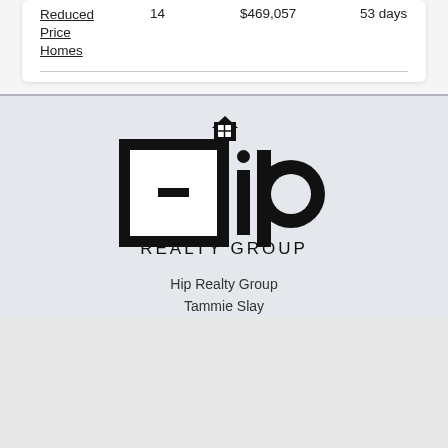| Reduced Price Homes | 14 | $469,057 | 53 days |
[Figure (logo): Hip Realty Group logo — stylized H with house icon on top and 'ip' letters, 'REALTY GROUP' text below]
Hip Realty Group
Tammie Slay